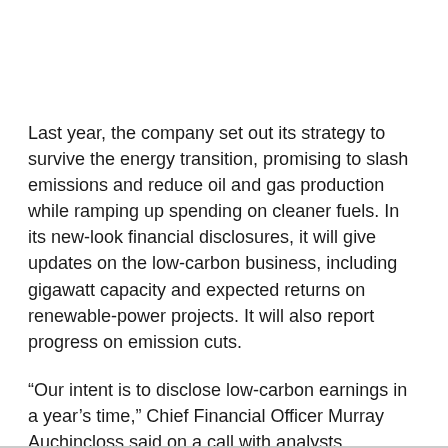Last year, the company set out its strategy to survive the energy transition, promising to slash emissions and reduce oil and gas production while ramping up spending on cleaner fuels. In its new-look financial disclosures, it will give updates on the low-carbon business, including gigawatt capacity and expected returns on renewable-power projects. It will also report progress on emission cuts.
“Our intent is to disclose low-carbon earnings in a year’s time,” Chief Financial Officer Murray Auchincloss said on a call with analysts.